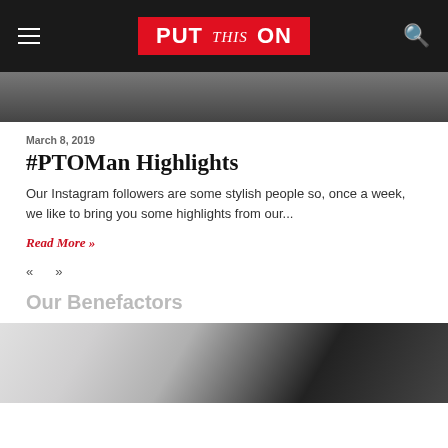PUT this ON
[Figure (photo): Partial view of men's legs/shoes walking, cropped at top of page]
March 8, 2019
#PTOMan Highlights
Our Instagram followers are some stylish people so, once a week, we like to bring you some highlights from our...
Read More »
« »
Our Benefactors
[Figure (photo): Close-up of clothing/fabric with dark cards or labels, partially visible]